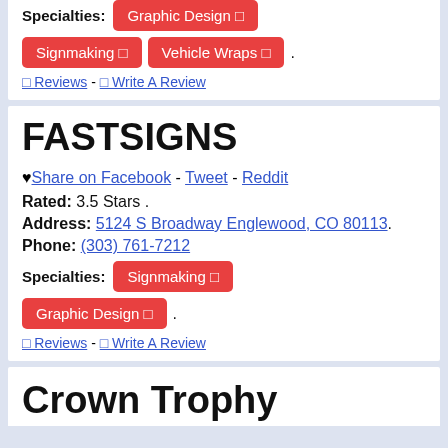Specialties: Graphic Design  Signmaking  Vehicle Wraps .
0 Reviews - 0 Write A Review
FASTSIGNS
♥ Share on Facebook - Tweet - Reddit
Rated: 3.5 Stars .
Address: 5124 S Broadway Englewood, CO 80113.
Phone: (303) 761-7212
Specialties: Signmaking  Graphic Design .
0 Reviews - 0 Write A Review
Crown Trophy